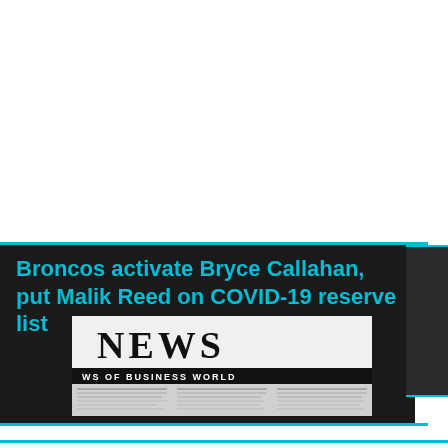Broncos activate Bryce Callahan, put Malik Reed on COVID-19 reserve list
[Figure (photo): Newspaper front page showing 'NEWS' headline and 'NEWS OF BUSINESS WORLD' subheadline with blurred columns of text beneath]